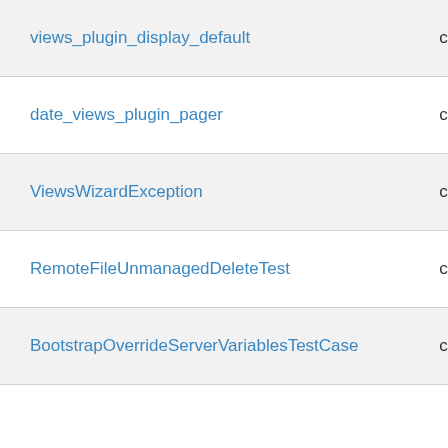| Name | Type |
| --- | --- |
| views_plugin_display_default | class |
| date_views_plugin_pager | class |
| ViewsWizardException | class |
| RemoteFileUnmanagedDeleteTest | class |
| BootstrapOverrideServerVariablesTestCase | class |